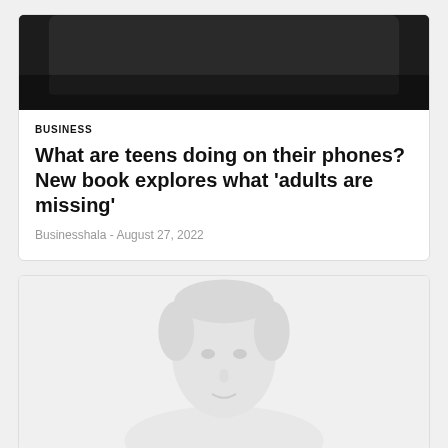[Figure (photo): Top portion of a phone/device image, dark background, partially cropped at top]
BUSINESS
What are teens doing on their phones? New book explores what 'adults are missing'
Businesshala  -  August 27, 2022
[Figure (photo): Faded/light portrait photo of a person (likely an older individual) against a white background]